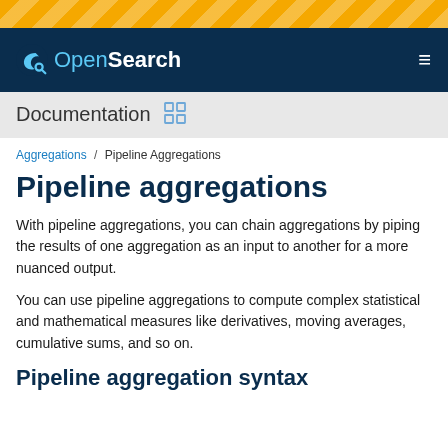OpenSearch
Documentation
Aggregations / Pipeline Aggregations
Pipeline aggregations
With pipeline aggregations, you can chain aggregations by piping the results of one aggregation as an input to another for a more nuanced output.
You can use pipeline aggregations to compute complex statistical and mathematical measures like derivatives, moving averages, cumulative sums, and so on.
Pipeline aggregation syntax